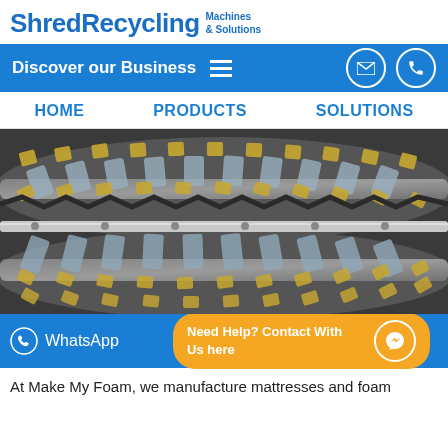ShredRecycling Machines & Solutions
Discover our Business
HOME   PRODUCTS   SOLUTIONS
[Figure (photo): Close-up photo of industrial shredder machine rotors with metal blades/knives and bolts, metallic grey and gold/yellow colored cutting elements on cylindrical drums]
WhatsApp   Need Help? Contact With Us here
At Make My Foam, we manufacture mattresses and foam